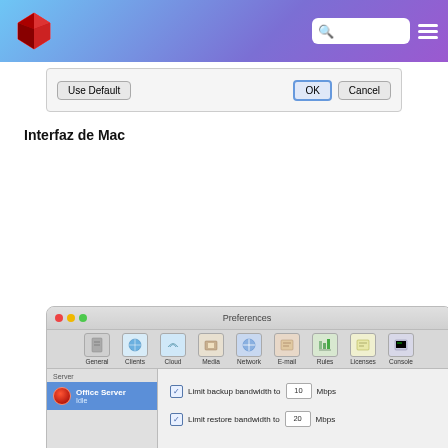[Figure (screenshot): Header bar with red 3D cube logo on left, search box and hamburger menu icon on right, gradient background from light blue to purple]
[Figure (screenshot): Dialog fragment showing Use Default, OK, and Cancel buttons at the bottom of a dialog window]
Interfaz de Mac
[Figure (screenshot): Mac OS X Preferences dialog window showing Network tab with Office Server selected in sidebar, options to Limit backup bandwidth to 10 Mbps and Limit restore bandwidth to 20 Mbps, with Use Default button at bottom right]